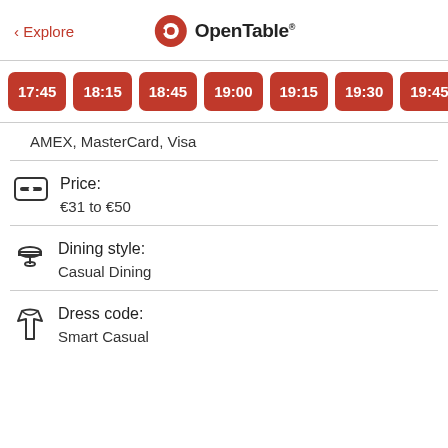< Explore  OpenTable
17:45
18:15
18:45
19:00
19:15
19:30
19:45
AMEX, MasterCard, Visa
Price:
€31 to €50
Dining style:
Casual Dining
Dress code:
Smart Casual